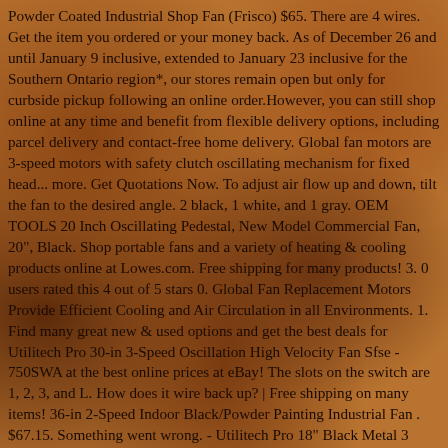Powder Coated Industrial Shop Fan (Frisco) $65. There are 4 wires. Get the item you ordered or your money back. As of December 26 and until January 9 inclusive, extended to January 23 inclusive for the Southern Ontario region*, our stores remain open but only for curbside pickup following an online order.However, you can still shop online at any time and benefit from flexible delivery options, including parcel delivery and contact-free home delivery. Global fan motors are 3-speed motors with safety clutch oscillating mechanism for fixed head... more. Get Quotations Now. To adjust air flow up and down, tilt the fan to the desired angle. 2 black, 1 white, and 1 gray. OEM TOOLS 20 Inch Oscillating Pedestal, New Model Commercial Fan, 20", Black. Shop portable fans and a variety of heating & cooling products online at Lowes.com. Free shipping for many products! 3. 0 users rated this 4 out of 5 stars 0. Global Fan Replacement Motors Provide Efficient Cooling and Air Circulation in all Environments. 1. Find many great new & used options and get the best deals for Utilitech Pro 30-in 3-Speed Oscillation High Velocity Fan Sfse - 750SWA at the best online prices at eBay! The slots on the switch are 1, 2, 3, and L. How does it wire back up? | Free shipping on many items! 36-in 2-Speed Indoor Black/Powder Painting Industrial Fan . $67.15. Something went wrong. - Utilitech Pro 18" Black Metal 3 Speed Oscillation High Velocity Portable Fan. The three-speed settings provide a range suitable for any cooling any area. On its base, it occupies about 18 feet floor space which is wide enough to